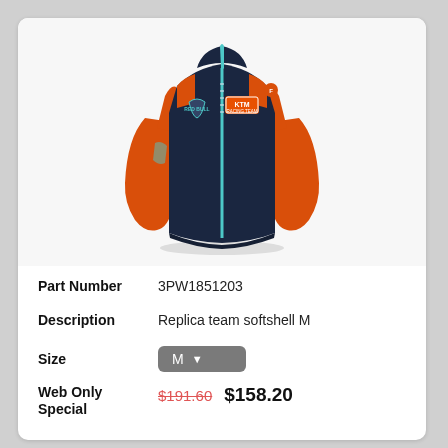[Figure (photo): KTM Racing Team replica softshell jacket in navy blue and orange with light blue zipper accents, shown on an invisible mannequin]
Part Number    3PW1851203
Description    Replica team softshell M
Size    M
Web Only Special    $191.60 (strikethrough)    $158.20